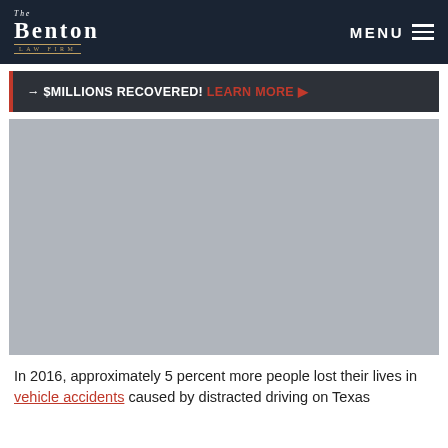The Benton Law Firm — MENU
→ $MILLIONS RECOVERED! LEARN MORE ▶
[Figure (photo): Hero image area showing a scene related to vehicle accidents or distracted driving — appears as a gray/muted photograph placeholder]
In 2016, approximately 5 percent more people lost their lives in vehicle accidents caused by distracted driving on Texas